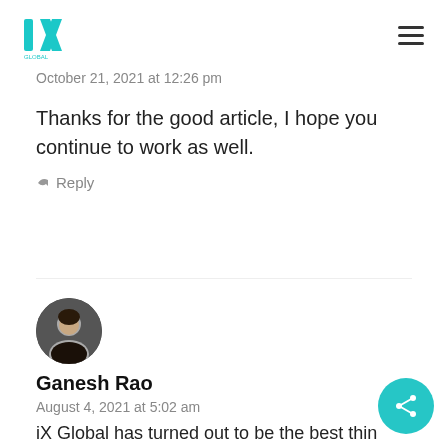iX Global logo and navigation
October 21, 2021 at 12:26 pm
Thanks for the good article, I hope you continue to work as well.
↳ Reply
[Figure (photo): Circular avatar photo of Ganesh Rao]
Ganesh Rao
August 4, 2021 at 5:02 am
iX Global has turned out to be the best thing in my life.. it's such a wonderful educational platform where I learnt so much about financial...